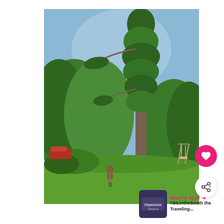[Figure (photo): Outdoor photograph showing a very tall, narrow pine tree towering over lush green trees and lawn. A person stands in the green grass below, looking up at the tree. A swing set is partially visible to the right. A red vehicle is parked in the background to the left.]